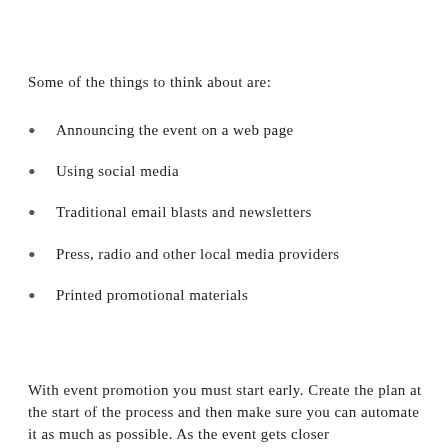Some of the things to think about are:
Announcing the event on a web page
Using social media
Traditional email blasts and newsletters
Press, radio and other local media providers
Printed promotional materials
With event promotion you must start early. Create the plan at the start of the process and then make sure you can automate it as much as possible. As the event gets closer